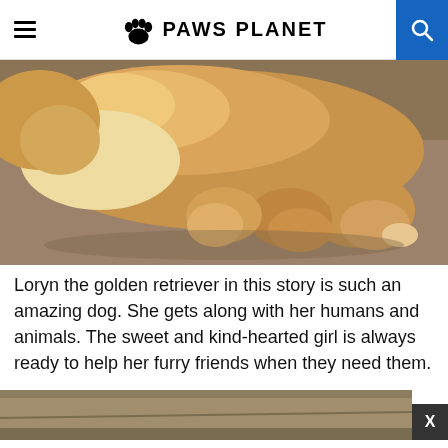PAWS PLANET
[Figure (photo): Golden retriever dog lying on its back on a gray/brown cushion or couch, paws in the air, viewed from behind at the haunches]
Loryn the golden retriever in this story is such an amazing dog. She gets along with her humans and animals. The sweet and kind-hearted girl is always ready to help her furry friends when they need them.
[Figure (photo): Partial bottom photo of a gray-brown cushion or couch surface, with an X close button in bottom-right corner]